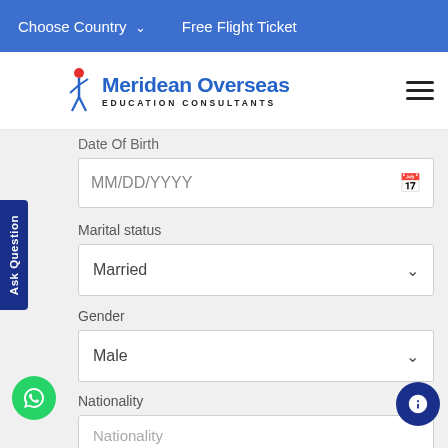Choose Country  ∨    Free Flight Ticket
[Figure (logo): Meridean Overseas Education Consultants logo with blue figure icon and blue text]
Date Of Birth
MM/DD/YYYY
Marital status
Married
Gender
Male
Nationality
Nationality